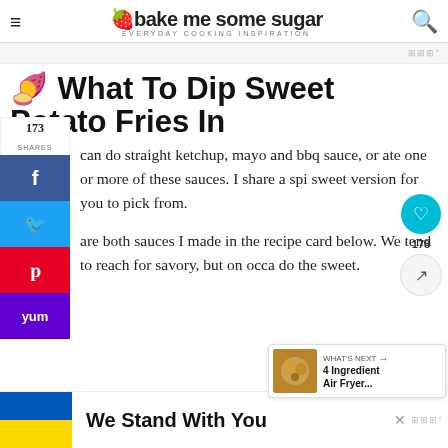bake me some sugar — EVERYDAY COOKING INSPIRATION
🍠 What To Dip Sweet Potato Fries In
173 SHARES
can do straight ketchup, mayo and bbq sauce, or ate one or more of these sauces. I share a spi sweet version for you to pick from.
are both sauces I made in the recipe card below. We tend to reach for savory, but on occa do the sweet.
[Figure (other): WHAT'S NEXT arrow promo: 4 Ingredient Air Fryer... with food image]
[Figure (other): Bottom ad banner: Ukraine flag with We Stand With You text]